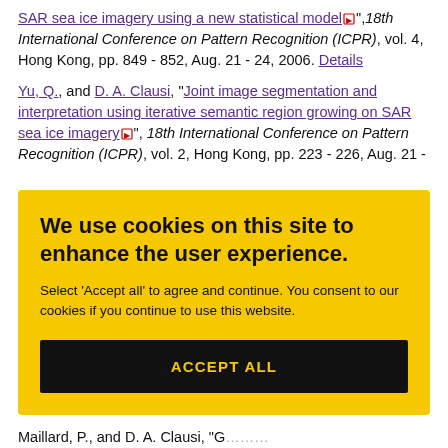SAR sea ice imagery using a new statistical model", 18th International Conference on Pattern Recognition (ICPR), vol. 4, Hong Kong, pp. 849 - 852, Aug. 21 - 24, 2006. Details
Yu, Q., and D. A. Clausi, "Joint image segmentation and interpretation using iterative semantic region growing on SAR sea ice imagery", 18th International Conference on Pattern Recognition (ICPR), vol. 2, Hong Kong, pp. 223 - 226, Aug. 21 -
We use cookies on this site to enhance the user experience. Select 'Accept all' to agree and continue. You consent to our cookies if you continue to use this website. ACCEPT ALL
Maillard, P., and D. A. Clausi, "G.... unsupervised classification...